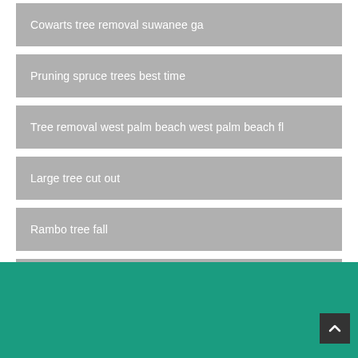Cowarts tree removal suwanee ga
Pruning spruce trees best time
Tree removal west palm beach west palm beach fl
Large tree cut out
Rambo tree fall
Falling trees in oregon